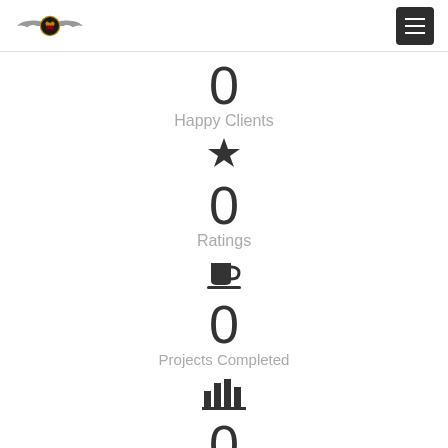Logo and navigation menu
0 — Happy Clients
[Figure (infographic): Star icon representing ratings]
0 — Ratings
[Figure (infographic): Coffee cup icon]
0 — Projects Completed
[Figure (infographic): Bar chart icon representing years in business]
0 — Years in Business (partial, cut off)